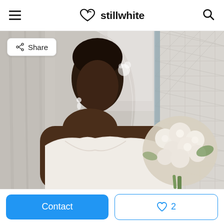stillwhite
[Figure (photo): A bride in a white strapless wedding dress holding a white bouquet of roses, wearing a veil and crystal hair accessory, looking downward. Background shows curtains and a geometric-patterned wall.]
Share
Contact
2